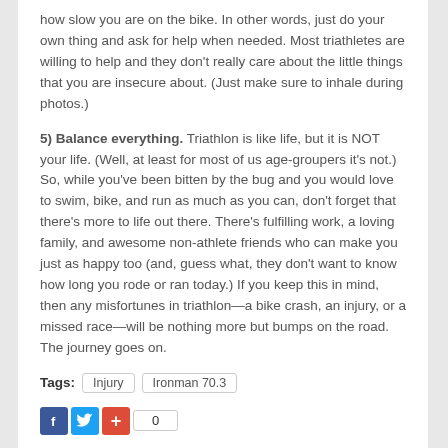how slow you are on the bike. In other words, just do your own thing and ask for help when needed. Most triathletes are willing to help and they don't really care about the little things that you are insecure about. (Just make sure to inhale during photos.)
5) Balance everything. Triathlon is like life, but it is NOT your life. (Well, at least for most of us age-groupers it's not.) So, while you've been bitten by the bug and you would love to swim, bike, and run as much as you can, don't forget that there's more to life out there. There's fulfilling work, a loving family, and awesome non-athlete friends who can make you just as happy too (and, guess what, they don't want to know how long you rode or ran today.) If you keep this in mind, then any misfortunes in triathlon—a bike crash, an injury, or a missed race—will be nothing more but bumps on the road. The journey goes on.
Tags: Injury  Ironman 70.3
[Figure (infographic): Social share buttons: Facebook (blue), Twitter (light blue), plus button (red), and share count showing 0]